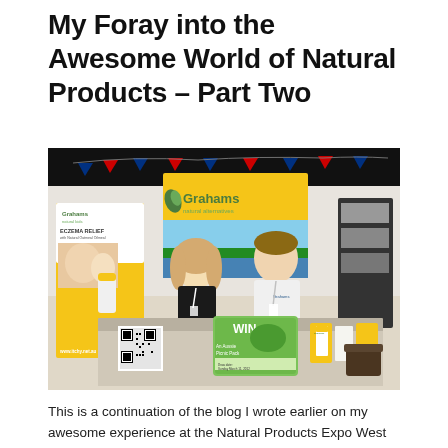My Foray into the Awesome World of Natural Products – Part Two
[Figure (photo): Two people (a woman in black and a young man in white) standing at a Grahams Natural Alternatives trade show booth at the Natural Products Expo West in Anaheim. The booth displays banners for Grahams Natural Kids Eczema Relief and Grahams Natural, with Australian flags, product displays, a QR code, and a 'WIN An Aussie Picnic Pack' sign. The website www.itchy.net.au is visible on the banner.]
This is a continuation of the blog I wrote earlier on my awesome experience at the Natural Products Expo West in Anaheim. In